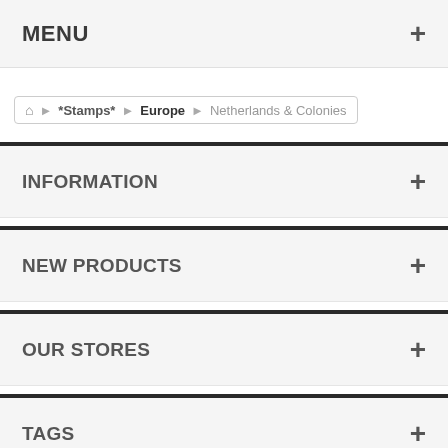MENU
*Stamps* > Europe > Netherlands & Colonies
INFORMATION
NEW PRODUCTS
OUR STORES
TAGS